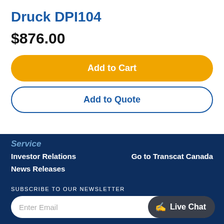Druck DPI104
$876.00
Add to Cart
Add to Quote
Service
Investor Relations
News Releases
Go to Transcat Canada
SUBSCRIBE TO OUR NEWSLETTER
Enter Email
Live Chat